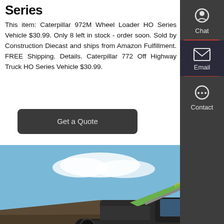Series
This item: Caterpillar 972M Wheel Loader HO Series Vehicle $30.99. Only 8 left in stock - order soon. Sold by Construction Diecast and ships from Amazon Fulfillment. FREE Shipping. Details. Caterpillar 772 Off Highway Truck HO Series Vehicle $30.99.
Get a Quote
[Figure (photo): A green Zoomlion excavator photographed from below against a blue sky with clouds, showing the arm and bucket, parked on a dirt mound.]
Chat
Email
Contact